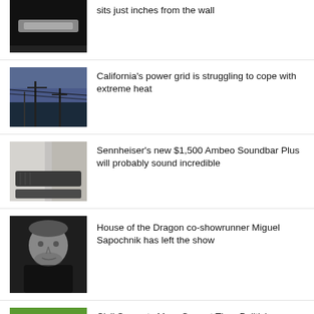[Figure (photo): Partial view of a soundbar device sitting on a dark surface close to a wall]
sits just inches from the wall
[Figure (photo): Power lines and utility poles silhouetted against a dusk sky in California]
California's power grid is struggling to cope with extreme heat
[Figure (photo): A Sennheiser soundbar and subwoofer on a light background]
Sennheiser's new $1,500 Ambeo Soundbar Plus will probably sound incredible
[Figure (photo): Portrait of Miguel Sapochnik, co-showrunner of House of the Dragon]
House of the Dragon co-showrunner Miguel Sapochnik has left the show
[Figure (photo): A person in a white outfit raising both hands outdoors on green background]
Civil Servants More Corrupt Than Politicians – Senate C'ttee